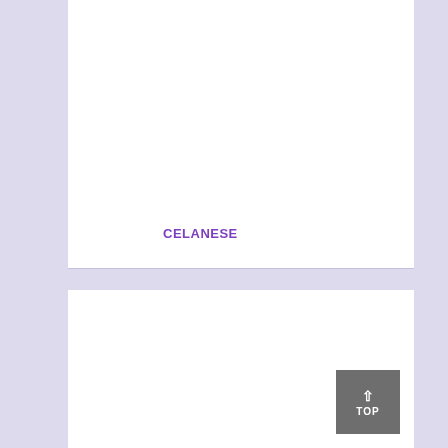[Figure (logo): Celanese company logo/label text in purple on white background]
CELANESE